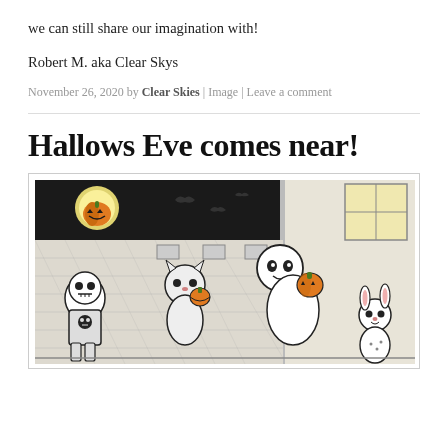we can still share our imagination with!
Robert M. aka Clear Skys
November 26, 2020 by Clear Skies | Image | Leave a comment
Hallows Eve comes near!
[Figure (illustration): Black and white comic-style illustration showing cartoon animal characters in Halloween costumes. A pumpkin jack-o-lantern with a full moon glows in the upper left. Several pony/animal characters are trick-or-treating, some holding pumpkin baskets, one dressed as a robot/skeleton, one as a cat.]